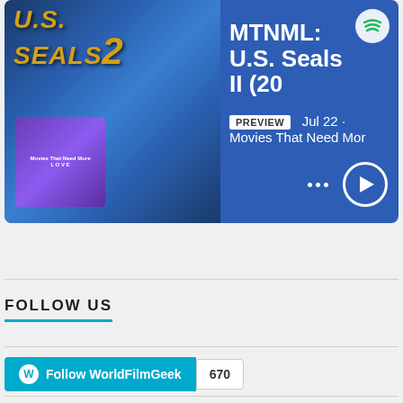[Figure (screenshot): Spotify podcast preview card with blue background showing U.S. Seals II album art and episode MTNML: U.S. Seals II (20... PREVIEW Jul 22 · Movies That Need Mor... with play button and dots menu]
FOLLOW US
Follow WorldFilmGeek 670